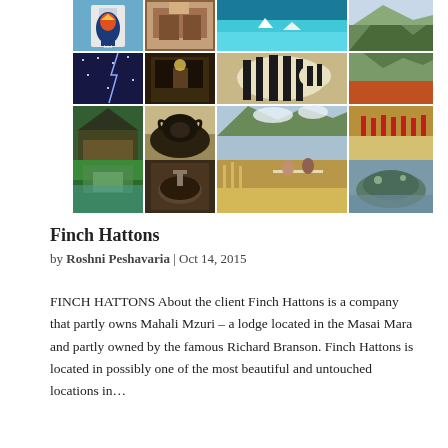[Figure (photo): A grid collage of safari and lodge photos including a bird, lodge interior, turquoise water, mountains, night sky, zebras, scenic landscapes, buffalo, Masai warriors, lodge exterior, bathroom, savanna picnic, and a manatee/hippo.]
Finch Hattons
by Roshni Peshavaria | Oct 14, 2015
FINCH HATTONS About the client Finch Hattons is a company that partly owns Mahali Mzuri – a lodge located in the Masai Mara and partly owned by the famous Richard Branson. Finch Hattons is located in possibly one of the most beautiful and untouched locations in…